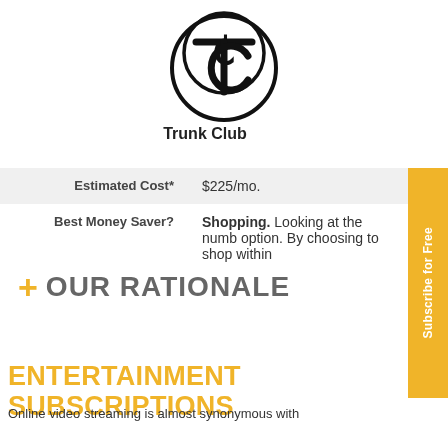[Figure (logo): Trunk Club logo — stylized T and C characters inside a circle]
Trunk Club
| Estimated Cost* | $225/mo. |
| Best Money Saver? | Shopping. Looking at the numbers, this seems to be the best option. By choosing to shop within |
+ OUR RATIONALE
ENTERTAINMENT SUBSCRIPTIONS
Online video streaming is almost synonymous with